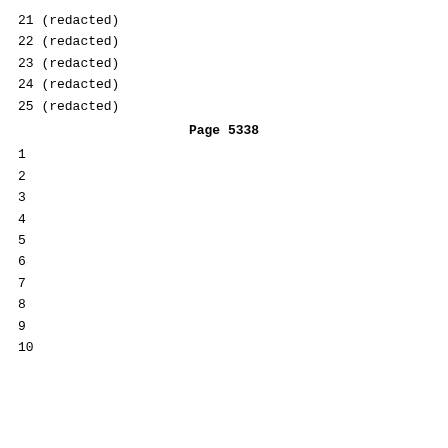21 (redacted)
22 (redacted)
23 (redacted)
24 (redacted)
25 (redacted)
Page  5338
1
2
3
4
5
6
7
8
9
10